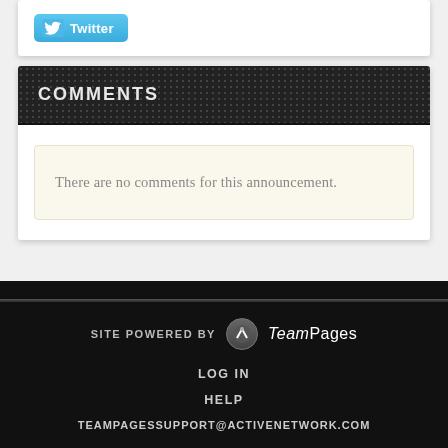[Figure (logo): Twitter button with bird icon and 'Twitter' text on blue gradient background]
COMMENTS
There are no comments for this announcement.
SITE POWERED BY TeamPages
LOG IN
HELP
TEAMPAGESSUPPORT@ACTIVENETWORK.COM